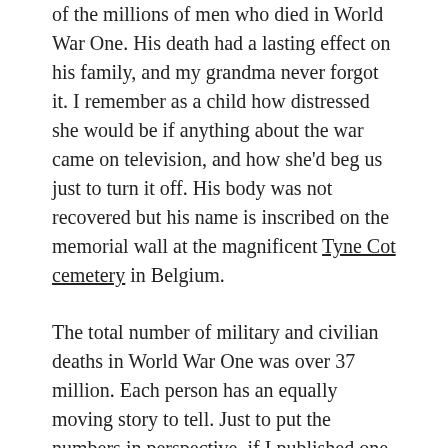of the millions of men who died in World War One. His death had a lasting effect on his family, and my grandma never forgot it. I remember as a child how distressed she would be if anything about the war came on television, and how she'd beg us just to turn it off. His body was not recovered but his name is inscribed on the memorial wall at the magnificent Tyne Cot cemetery in Belgium.
The total number of military and civilian deaths in World War One was over 37 million. Each person has an equally moving story to tell. Just to put the numbers in perspective, if I published one blog post every day to describe the life of every single person who died, it would take more than 100,000 years.
My family was very moved to find out that the Imperial War Museum has teamed up with the BBC Philharmonic Orchestra to compose a piece based on my uncle's letters.